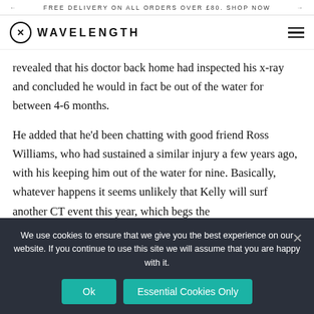← FREE DELIVERY ON ALL ORDERS OVER £80. SHOP NOW →
[Figure (logo): Wavelength logo: circle with X inside, followed by WAVELENGTH in bold uppercase, and hamburger menu icon on the right]
revealed that his doctor back home had inspected his x-ray and concluded he would in fact be out of the water for between 4-6 months.
He added that he'd been chatting with good friend Ross Williams, who had sustained a similar injury a few years ago, with his keeping him out of the water for nine. Basically, whatever happens it seems unlikely that Kelly will surf another CT event this year, which begs the
We use cookies to ensure that we give you the best experience on our website. If you continue to use this site we will assume that you are happy with it.  Ok  Essential Cookies Only